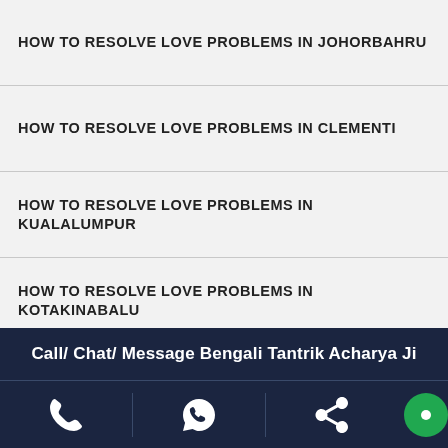HOW TO RESOLVE LOVE PROBLEMS IN JOHORBAHRU
HOW TO RESOLVE LOVE PROBLEMS IN CLEMENTI
HOW TO RESOLVE LOVE PROBLEMS IN KUALALUMPUR
HOW TO RESOLVE LOVE PROBLEMS IN KOTAKINABALU
HOW TO RESOLVE LOVE PROBLEMS IN KUCHING
HOW TO RESOLVE LOVE PROBLEMS IN GEORGETOWN
HOW TO RESOLVE LOVE PROBLEMS IN IPOH
HOW TO RESOLVE LOVE PROBLEMS IN MALACCA
HOW TO RESOLVE LOVE PROBLEMS IN PETALINGJAYA
HOW TO RESOLVE LOVE PROBLEMS IN SHAHALAM
Call/ Chat/ Message Bengali Tantrik Acharya Ji